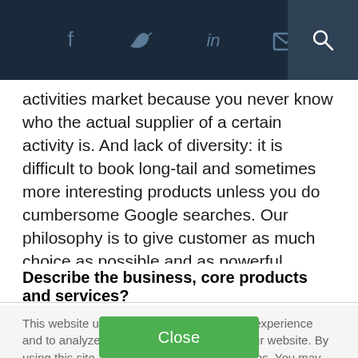[Navigation bar with social share icons: Facebook, Twitter, LinkedIn, Email, Search]
activities market because you never know who the actual supplier of a certain activity is. And lack of diversity: it is difficult to book long-tail and sometimes more interesting products unless you do cumbersome Google searches. Our philosophy is to give customer as much choice as possible and as powerful filtering tools as possible.
Describe the business, core products and services?
This website uses cookies to enhance user experience and to analyze performance and traffic on our website. By using this site, you agree to the use of cookies. You may change your cookie settings at any time, but the site may not function properly.  Cookie Policy
Close